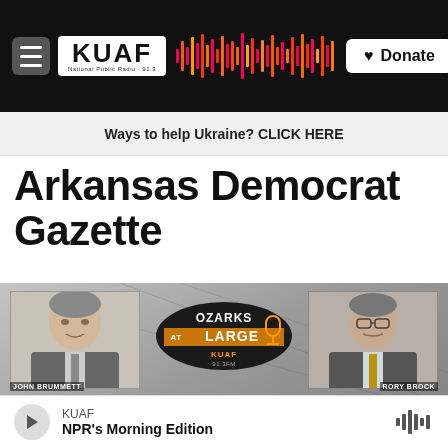KUAF National Public Radio 91.3 | Donate
Ways to help Ukraine? CLICK HERE
Arkansas Democrat Gazette
[Figure (photo): Composite image showing John Brummett (left headshot), Ozarks at Large KUAF logo (center), and Rory Brock (right headshot) against a newspaper background]
KUAF | NPR's Morning Edition